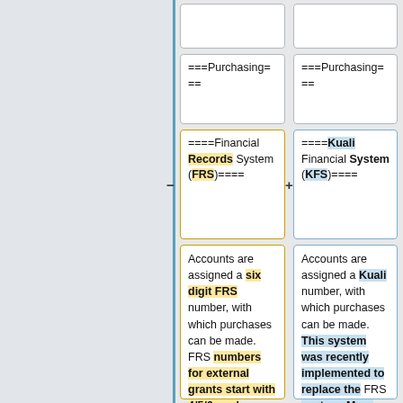===Purchasing===
===Purchasing===
====Financial Records System (FRS)====
====Kuali Financial System (KFS)====
Accounts are assigned a six digit FRS number, with which purchases can be made. FRS numbers for external grants start with 4/5/6, and research foundation grants start with 4. The
Accounts are assigned a Kuali number, with which purchases can be made. This system was recently implemented to replace the FRS system. More information is available at the [http://kuali.uconn.edu Kuali